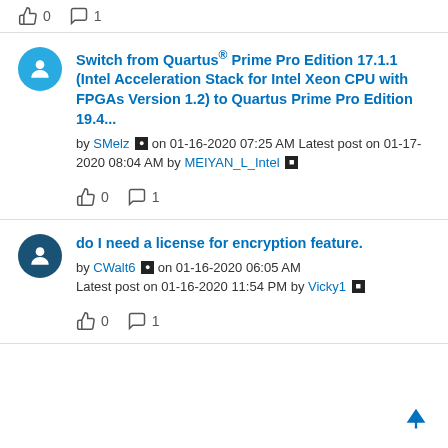0 likes, 1 comment
Switch from Quartus® Prime Pro Edition 17.1.1 (Intel Acceleration Stack for Intel Xeon CPU with FPGAs Version 1.2) to Quartus Prime Pro Edition 19.4... by SMelz on 01-16-2020 07:25 AM Latest post on 01-17-2020 08:04 AM by MEIYAN_L_Intel
0 likes, 1 comment
do I need a license for encryption feature. by CWalt6 on 01-16-2020 06:05 AM Latest post on 01-16-2020 11:54 PM by Vicky1
0 likes, 1 comment